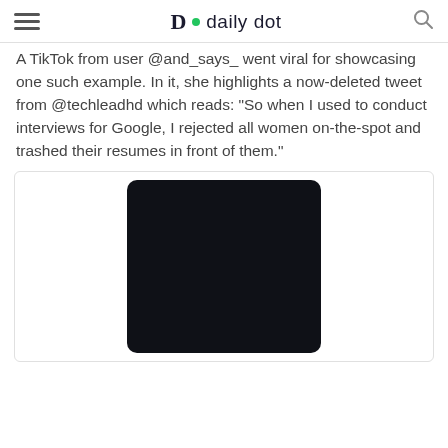daily dot
A TikTok from user @and_says_ went viral for showcasing one such example. In it, she highlights a now-deleted tweet from @techleadhd which reads: “So when I used to conduct interviews for Google, I rejected all women on-the-spot and trashed their resumes in front of them.”
[Figure (screenshot): Embedded dark-background video player, nearly all black, embedded in a light-bordered container]